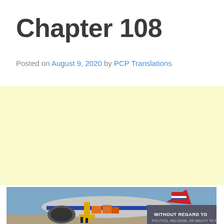Chapter 108
Posted on August 9, 2020 by PCP Translations
[Figure (other): Yellow advertisement placeholder rectangle]
[Figure (photo): Cargo airplane being loaded with freight on airport tarmac. Banner text reads WITHOUT REGARD TO POLITICS, RELIGION, OR ABILITY TO PAY.]
v